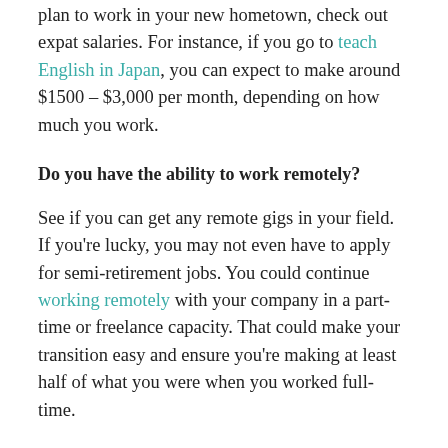plan to work in your new hometown, check out expat salaries. For instance, if you go to teach English in Japan, you can expect to make around $1500 – $3,000 per month, depending on how much you work.
Do you have the ability to work remotely?
See if you can get any remote gigs in your field. If you're lucky, you may not even have to apply for semi-retirement jobs. You could continue working remotely with your company in a part-time or freelance capacity. That could make your transition easy and ensure you're making at least half of what you were when you worked full-time.
What's the cost of living where you'll stay?